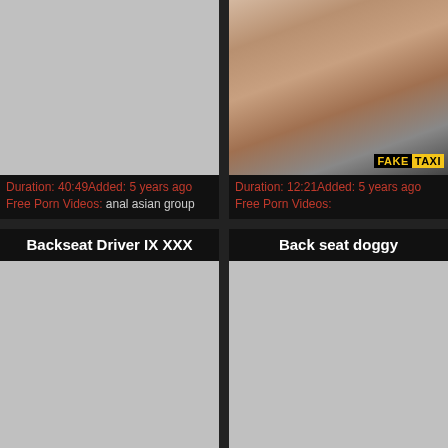[Figure (photo): Gray placeholder thumbnail for video (top left)]
Duration: 40:49Added: 5 years ago
Free Porn Videos: anal asian group
[Figure (photo): Photo thumbnail showing fake taxi scene (top right) with FAKE TAXI badge]
Duration: 12:21Added: 5 years ago
Free Porn Videos:
Backseat Driver IX XXX
Back seat doggy
[Figure (photo): Gray placeholder thumbnail for video (bottom left)]
[Figure (photo): Gray placeholder thumbnail for video (bottom right)]